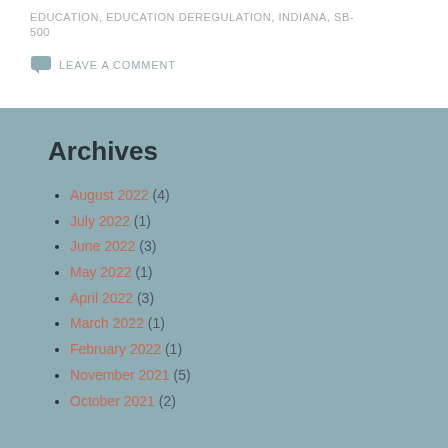EDUCATION, EDUCATION DEREGULATION, INDIANA, SB-500
LEAVE A COMMENT
Archives
August 2022 (4)
July 2022 (1)
June 2022 (3)
May 2022 (1)
April 2022 (3)
March 2022 (1)
February 2022 (1)
November 2021 (5)
October 2021 (2)